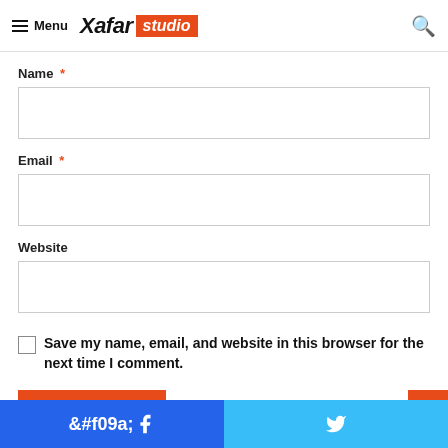Menu | Xafar studio
Name *
Email *
Website
Save my name, email, and website in this browser for the next time I comment.
Post Comment